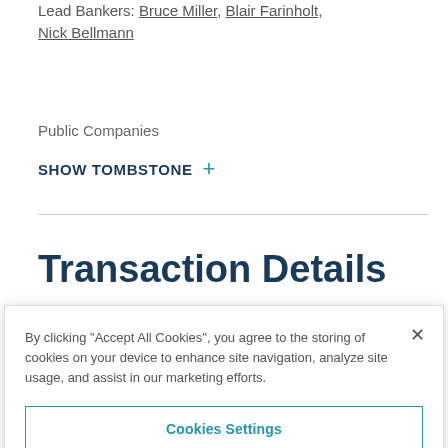Lead Bankers: Bruce Miller, Blair Farinholt, Nick Bellmann
Public Companies
SHOW TOMBSTONE +
Transaction Details
By clicking "Accept All Cookies", you agree to the storing of cookies on your device to enhance site navigation, analyze site usage, and assist in our marketing efforts.
Cookies Settings
Reject All